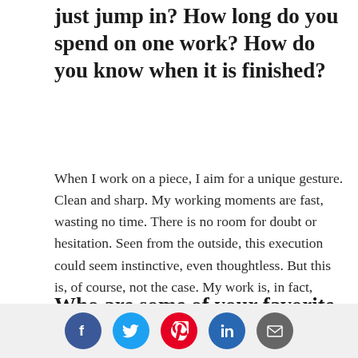just jump in? How long do you spend on one work? How do you know when it is finished?
When I work on a piece, I aim for a unique gesture. Clean and sharp. My working moments are fast, wasting no time. There is no room for doubt or hesitation. Seen from the outside, this execution could seem instinctive, even thoughtless. But this is, of course, not the case. My work is, in fact, essentially meditative. During this long process of reflection, my imagination makes and unmakes things. It is when I test my ideas when I question my technique.
Who are some of your favorite artists,
[Figure (other): Social sharing icon bar with Facebook, Twitter, Pinterest, LinkedIn, and Email icons]